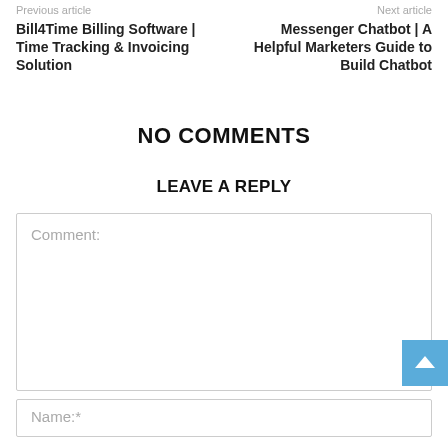Previous article
Next article
Bill4Time Billing Software | Time Tracking & Invoicing Solution
Messenger Chatbot | A Helpful Marketers Guide to Build Chatbot
NO COMMENTS
LEAVE A REPLY
Comment:
Name:*